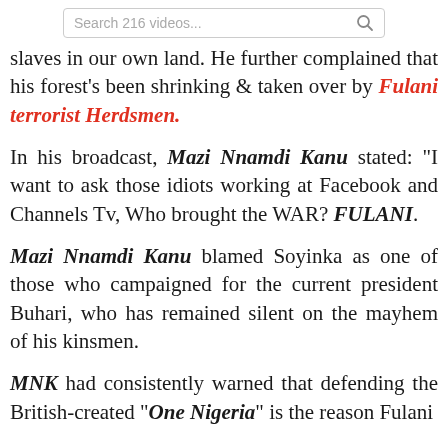[Figure (screenshot): Search bar with placeholder text 'Search 216 videos...' and a search icon on the right]
slaves in our own land. He further complained that his forest's been shrinking & taken over by Fulani terrorist Herdsmen.
In his broadcast, Mazi Nnamdi Kanu stated: "I want to ask those idiots working at Facebook and Channels Tv, Who brought the WAR? FULANI.
Mazi Nnamdi Kanu blamed Soyinka as one of those who campaigned for the current president Buhari, who has remained silent on the mayhem of his kinsmen.
MNK had consistently warned that defending the British-created "One Nigeria" is the reason Fulani